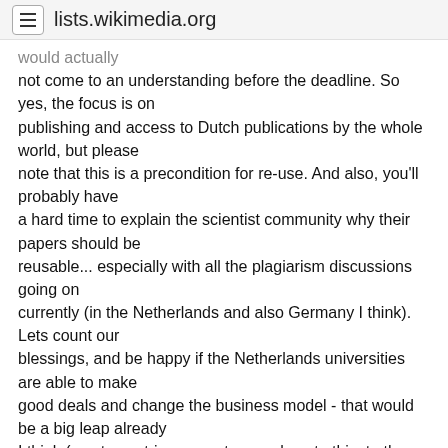lists.wikimedia.org
would actually
not come to an understanding before the deadline. So yes, the focus is on
publishing and access to Dutch publications by the whole world, but please
note that this is a precondition for re-use. And also, you'll probably have
a hard time to explain the scientist community why their papers should be
reusable... especially with all the plagiarism discussions going on
currently (in the Netherlands and also Germany I think). Lets count our
blessings, and be happy if the Netherlands universities are able to make
good deals and change the business model - that would be a big leap already
I think (most countries are not even close to this, to the best of my